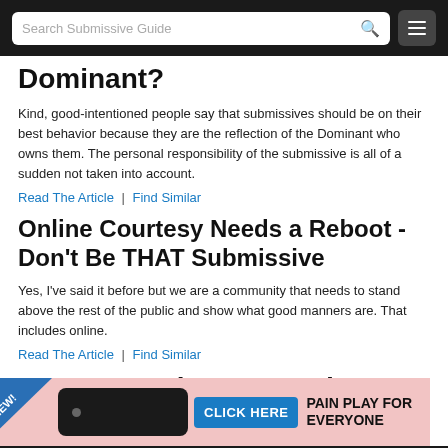Search Submissive Guide
Dominant?
Kind, good-intentioned people say that submissives should be on their best behavior because they are the reflection of the Dominant who owns them. The personal responsibility of the submissive is all of a sudden not taken into account.
Read The Article | Find Similar
Online Courtesy Needs a Reboot - Don't Be THAT Submissive
Yes, I've said it before but we are a community that needs to stand above the rest of the public and show what good manners are. That includes online.
Read The Article | Find Similar
Manners, Etiquette, and
[Figure (infographic): Advertisement banner: NEW! badge on blue triangle, image of a black leather paddle, CLICK HERE button in blue, text PAIN PLAY FOR EVERYONE on pink background]